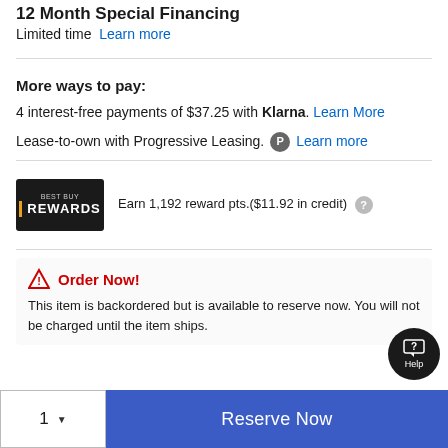12 Month Special Financing
Limited time  Learn more
More ways to pay:
4 interest-free payments of $37.25 with Klarna. Learn More
Lease-to-own with Progressive Leasing.  Learn more
Earn 1,192 reward pts.($11.92 in credit)
Order Now! This item is backordered but is available to reserve now. You will not be charged until the item ships.
1  Reserve Now